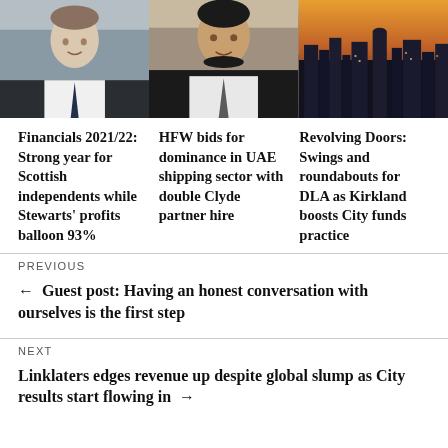[Figure (photo): Three photos in a row: two headshots of men in suits and a city skyline at dusk]
Financials 2021/22: Strong year for Scottish independents while Stewarts' profits balloon 93%
HFW bids for dominance in UAE shipping sector with double Clyde partner hire
Revolving Doors: Swings and roundabouts for DLA as Kirkland boosts City funds practice
PREVIOUS
← Guest post: Having an honest conversation with ourselves is the first step
NEXT
Linklaters edges revenue up despite global slump as City results start flowing in →